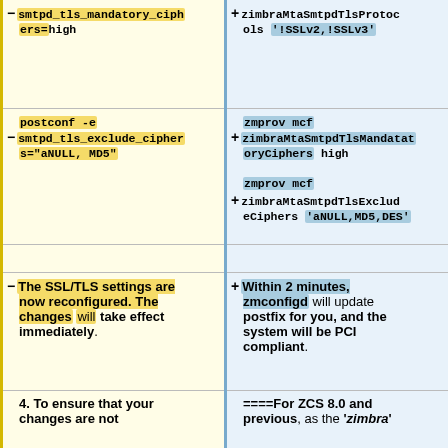postconf -e smtpd_tls_mandatory_ciphers=high
zmprov mcf +zimbraMtaSmtpdTlsProtocols '!SSLv2,!SSLv3'
postconf -e smtpd_tls_exclude_ciphers="aNULL, MD5"
zmprov mcf +zimbraMtaSmtpdTlsMandatoryCiphers high
zmprov mcf +zimbraMtaSmtpdTlsExcludeCiphers 'aNULL,MD5,DES'
The SSL/TLS settings are now reconfigured. The changes will take effect immediately.
Within 2 minutes, zmconfigd will update postfix for you, and the system will be PCI compliant.
4.    To ensure that your changes are not
====For ZCS 8.0 and previous, as the 'zimbra'